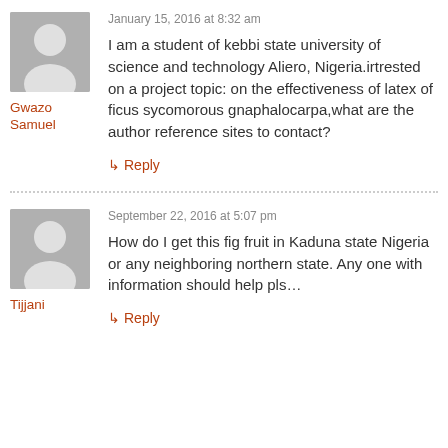January 15, 2016 at 8:32 am
I am a student of kebbi state university of science and technology Aliero, Nigeria.irtrested on a project topic: on the effectiveness of latex of ficus sycomorous gnaphalocarpa,what are the author reference sites to contact?
Gwazo Samuel
↳ Reply
September 22, 2016 at 5:07 pm
How do I get this fig fruit in Kaduna state Nigeria or any neighboring northern state. Any one with information should help pls…
Tijjani
↳ Reply